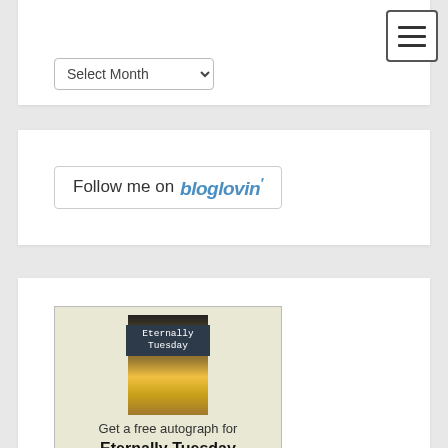[Figure (screenshot): Hamburger menu button in top right corner with three horizontal lines]
[Figure (screenshot): Select Month dropdown control]
[Figure (screenshot): Follow me on bloglovin' button]
[Figure (illustration): Authorgraph widget showing book 'Eternally Tuesday' with sunset image, text reading 'Get a free autograph for Eternally Tuesday authorgraph >>']